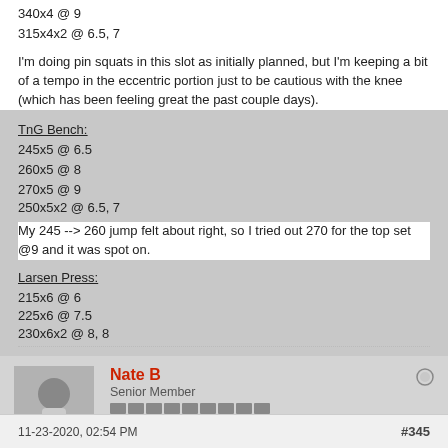340x4 @ 9
315x4x2 @ 6.5, 7
I'm doing pin squats in this slot as initially planned, but I'm keeping a bit of a tempo in the eccentric portion just to be cautious with the knee (which has been feeling great the past couple days).
TnG Bench:
245x5 @ 6.5
260x5 @ 8
270x5 @ 9
250x5x2 @ 6.5, 7
My 245 --> 260 jump felt about right, so I tried out 270 for the top set @9 and it was spot on.
Larsen Press:
215x6 @ 6
225x6 @ 7.5
230x6x2 @ 8, 8
Nate B
Senior Member
Join Date: Aug 2018   Posts: 786
11-23-2020, 02:54 PM
#345